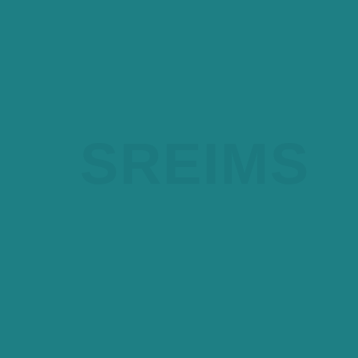[Figure (other): Solid teal/dark cyan background color fill covering the entire page, with very faint watermark-like text visible in the upper portion that appears to say something but is nearly indistinguishable from the background color.]